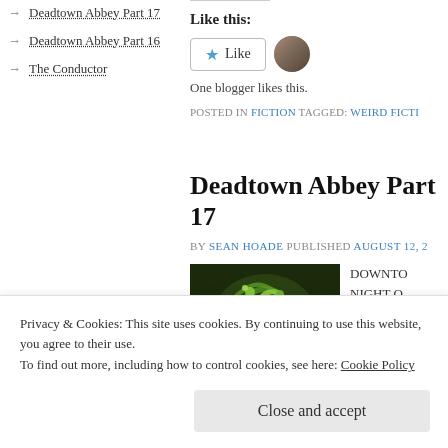→ Deadtown Abbey Part 17
→ Deadtown Abbey Part 16
→ The Conductor
Like this:
One blogger likes this.
POSTED IN FICTION TAGGED: WEIRD FICTI…
Deadtown Abbey Part 17
BY SEAN HOADE PUBLISHED AUGUST 12, 2…
[Figure (photo): Colorful fantasy creature illustration with green swirling tentacles/serpents on dark background]
DOWNTO… NIGHT O… It is a wor… s a… A w… oto… s, Mo…
Privacy & Cookies: This site uses cookies. By continuing to use this website, you agree to their use.
To find out more, including how to control cookies, see here: Cookie Policy
Close and accept